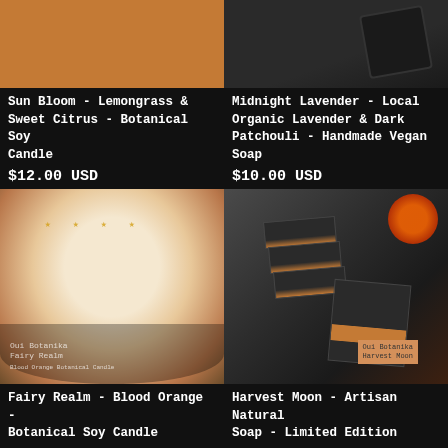[Figure (photo): Top portion of a botanical soy candle with orange/tan color]
Sun Bloom - Lemongrass & Sweet Citrus - Botanical Soy Candle
$12.00 USD
[Figure (photo): Dark bottle of Midnight Lavender handmade vegan soap]
Midnight Lavender - Local Organic Lavender & Dark Patchouli - Handmade Vegan Soap
$10.00 USD
[Figure (photo): Top-down view of Fairy Realm Blood Orange Botanical Soy Candle tin with dried orange flowers and gold stars]
Fairy Realm - Blood Orange - Botanical Soy Candle
$12.50 USD
[Figure (photo): Harvest Moon Artisan Natural Soap bars in dark charcoal color with tan label, surrounded by orange flowers]
Harvest Moon - Artisan Natural Soap - Limited Edition
$14.00 USD